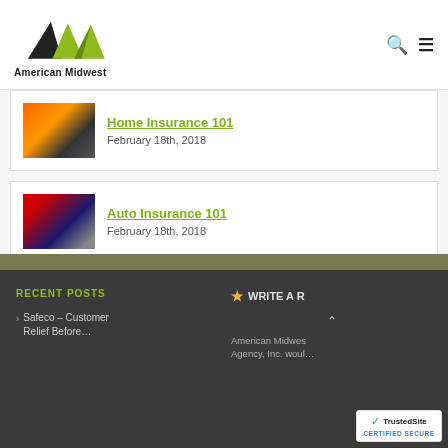[Figure (logo): American Midwest Insurance logo with stylized M in black and green]
Home Insurance 101
February 18th, 2018
Auto Insurance 101
February 18th, 2018
RECENT POSTS
Safeco – Customer Relief Before…
WRITE A REVIEW /
American Midwest Agency, Inc. woul…
[Figure (logo): TrustedSite Certified Secure badge]